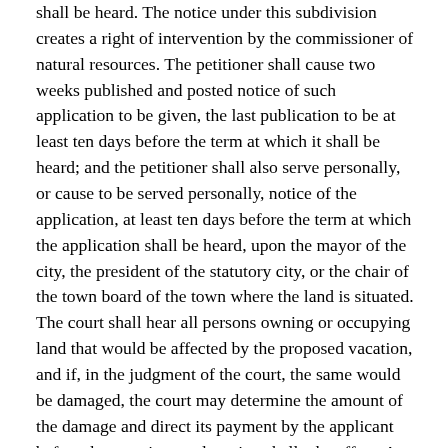shall be heard. The notice under this subdivision creates a right of intervention by the commissioner of natural resources. The petitioner shall cause two weeks published and posted notice of such application to be given, the last publication to be at least ten days before the term at which it shall be heard; and the petitioner shall also serve personally, or cause to be served personally, notice of the application, at least ten days before the term at which the application shall be heard, upon the mayor of the city, the president of the statutory city, or the chair of the town board of the town where the land is situated. The court shall hear all persons owning or occupying land that would be affected by the proposed vacation, and if, in the judgment of the court, the same would be damaged, the court may determine the amount of the damage and direct its payment by the applicant before the vacation or alteration shall take effect. A certified copy of the order of the court shall be filed with the county auditor, and recorded by the county recorder. The district court shall not vacate or alter any street, alley, or public ground dedicated to the public use in or by any plat in any city or town organized under a charter or special law which provides a method of procedure for the vacation of streets and public grounds by the municipal authorities of the city or town.